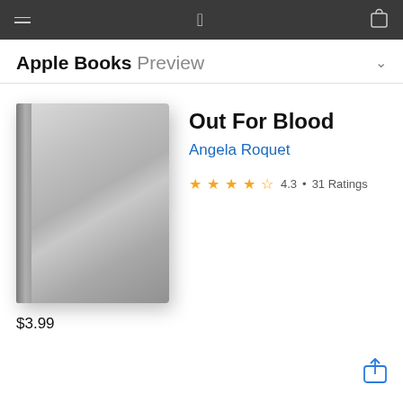Apple Books Preview
[Figure (illustration): Book cover for 'Out For Blood' by Angela Roquet — plain gray gradient cover with spine]
Out For Blood
Angela Roquet
4.3 • 31 Ratings
$3.99